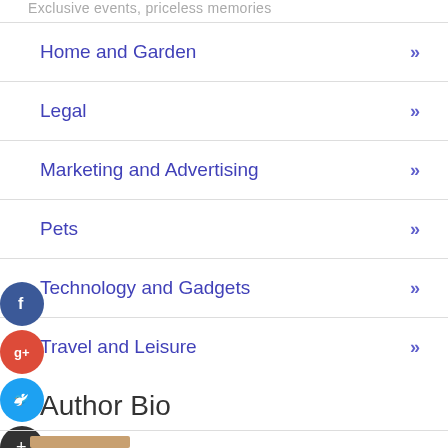Exclusive events, priceless memories
Home and Garden »
Legal »
Marketing and Advertising »
Pets »
Technology and Gadgets »
Travel and Leisure »
Author Bio
[Figure (other): Author photo thumbnail at bottom of page]